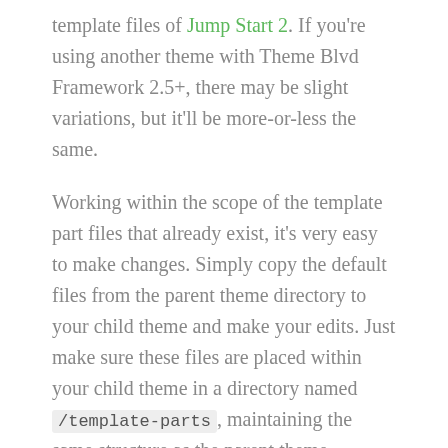template files of Jump Start 2. If you're using another theme with Theme Blvd Framework 2.5+, there may be slight variations, but it'll be more-or-less the same.
Working within the scope of the template part files that already exist, it's very easy to make changes. Simply copy the default files from the parent theme directory to your child theme and make your edits. Just make sure these files are placed within your child theme in a directory named /template-parts, maintaining the same structure as the parent theme.